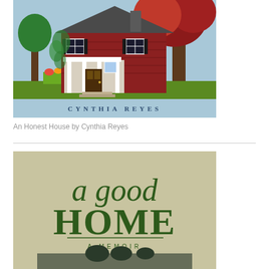[Figure (illustration): Book cover of 'An Honest House' by Cynthia Reyes — light blue background with an illustration of a red brick cottage house with white porch, surrounded by trees and colorful garden flowers. Author name 'CYNTHIA REYES' in dark blue serif letters at the bottom.]
An Honest House by Cynthia Reyes
[Figure (illustration): Book cover of 'A Good Home: A Memoir' — olive/tan background with large dark green decorative serif text 'a good HOME' and subtitle 'A MEMOIR' below in spaced capitals. Bottom of cover shows a partial photo.]